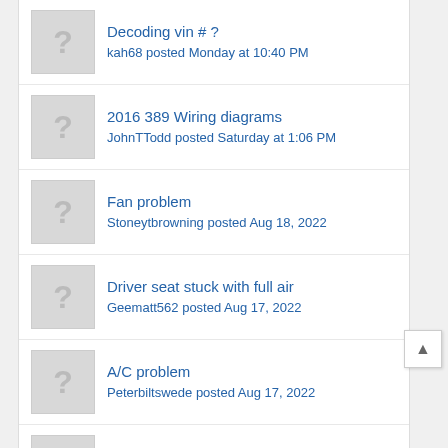Decoding vin # ? — kah68 posted Monday at 10:40 PM
2016 389 Wiring diagrams — JohnTTodd posted Saturday at 1:06 PM
Fan problem — Stoneytbrowning posted Aug 18, 2022
Driver seat stuck with full air — Geematt562 posted Aug 17, 2022
A/C problem — Peterbiltswede posted Aug 17, 2022
579 outside air temp display — Baldguy68 posted Aug 15, 2022
White spots on polished... — mile marker 27 posted Aug 14, 2022
Frame ramps for 379 — Coolbreezin posted Aug 9, 2022
New 2022 579 pit — Cargo R posted Aug 9, 2022
2000 peterbilt 379 headlights